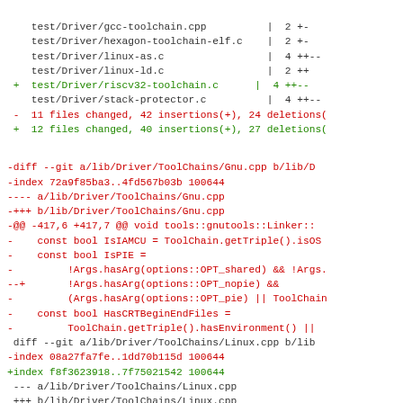Git diff output showing file changes and code modifications to ToolChains/Gnu.cpp and ToolChains/Linux.cpp
test/Driver/gcc-toolchain.cpp          |  2 +-
test/Driver/hexagon-toolchain-elf.c    |  2 +-
test/Driver/linux-as.c                 |  4 ++--
test/Driver/linux-ld.c                 |  2 ++
+ test/Driver/riscv32-toolchain.c      |  4 ++--
  test/Driver/stack-protector.c        |  4 ++--
- 11 files changed, 42 insertions(+), 24 deletions(
+ 12 files changed, 40 insertions(+), 27 deletions(
-diff --git a/lib/Driver/ToolChains/Gnu.cpp b/lib/D
-index 72a9f85ba3..4fd567b03b 100644
---- a/lib/Driver/ToolChains/Gnu.cpp
-+++ b/lib/Driver/ToolChains/Gnu.cpp
-@@ -417,6 +417,7 @@ void tools::gnutools::Linker::
-    const bool IsIAMCU = ToolChain.getTriple().isOs
-    const bool IsPIE =
-         !Args.hasArg(options::OPT_shared) && !Args.
--+        !Args.hasArg(options::OPT_nopie) &&
-         (Args.hasArg(options::OPT_pie) || ToolChain
-    const bool HasCRTBeginEndFiles =
-         ToolChain.getTriple().hasEnvironment() ||
 diff --git a/lib/Driver/ToolChains/Linux.cpp b/lib
-index 08a27fa7fe..1dd70b115d 100644
+index f8f3623918..7f75021542 100644
 --- a/lib/Driver/ToolChains/Linux.cpp
 +++ b/lib/Driver/ToolChains/Linux.cpp
-@@ -810,7 +810,19 @@ void Linux::AddIAMCUIncludeAr
-    }
+@@ -903,8 +903,18 @@ void Linux::AddIAMCUIncludeAr
   }